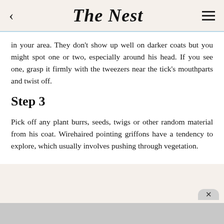The Nest
in your area. They don't show up well on darker coats but you might spot one or two, especially around his head. If you see one, grasp it firmly with the tweezers near the tick's mouthparts and twist off.
Step 3
Pick off any plant burrs, seeds, twigs or other random material from his coat. Wirehaired pointing griffons have a tendency to explore, which usually involves pushing through vegetation.